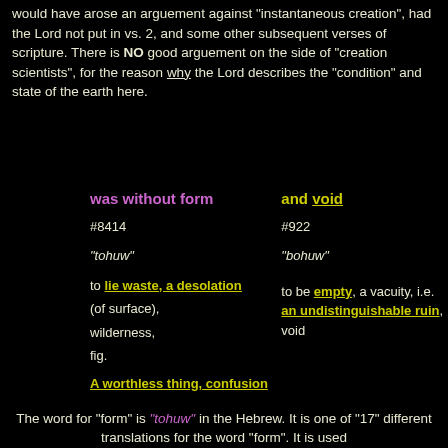would have arose an arguement against "instantaneous creation", had the Lord not put in vs. 2, and some other subsequent verses of scripture. There is NO good arguement on the side of "creation scientists", for the reason why the Lord describes the "condition" and state of the earth here.
was without form  and void
#8414
#922
"tohuw"
"bohuw"
to lie waste, a desolation (of surface), wilderness, fig.
A worthless thing, confusion
to be empty, a vacuity, i.e. an undistinguishable ruin, void
The word for "form" is "tohuw" in the Hebrew. It is one of "17" different translations for the word "form". It is used